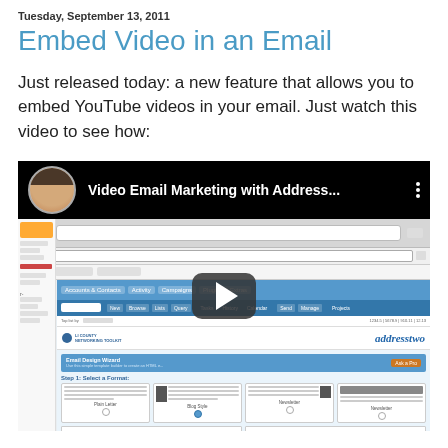Tuesday, September 13, 2011
Embed Video in an Email
Just released today: a new feature that allows you to embed YouTube videos in your email. Just watch this video to see how:
[Figure (screenshot): YouTube video thumbnail showing 'Video Email Marketing with Address...' with a play button overlay, and below it a screenshot of the AddressTwo email design wizard application interface]